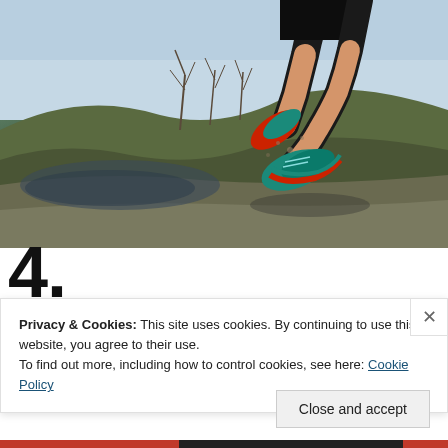[Figure (photo): A runner in black shorts and colorful trail running shoes (red/teal) leaping or running over rough muddy terrain with bare winter trees and blue sky in background. Low angle shot showing legs and feet in motion.]
4. EQUIPMENT
Privacy & Cookies: This site uses cookies. By continuing to use this website, you agree to their use.
To find out more, including how to control cookies, see here: Cookie Policy